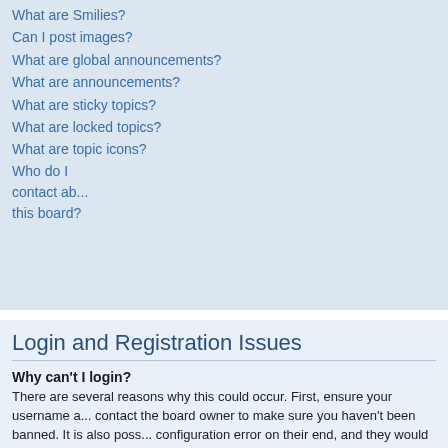What are Smilies?
Can I post images?
What are global announcements?
What are announcements?
What are sticky topics?
What are locked topics?
What are topic icons?
Who do I contact about this board?
Login and Registration Issues
Why can't I login?
There are several reasons why this could occur. First, ensure your username a... contact the board owner to make sure you haven't been banned. It is also poss... configuration error on their end, and they would need to fix it.
Top
Why do I need to register at all?
You may not have to, it is up to the administrator of the board as to whether you... messages. However; registration will give you access to additional features not... definable avatar images, private messaging, emailing of fellow users, usergroup... moments to register so it is recommended you do so.
Top
Why do I get logged off automatically?
If you do not check the Log me in automatically box when you login, the board...